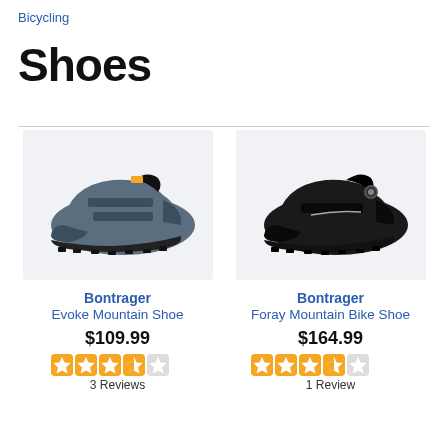Bicycling
Shoes
[Figure (photo): Bontrager Evoke Mountain Shoe - gray cycling shoe with yellow accent and velcro straps on light background]
Bontrager
Evoke Mountain Shoe
$109.99
3 Reviews
[Figure (photo): Bontrager Foray Mountain Bike Shoe - black cycling shoe with BOA dial closure on light background]
Bontrager
Foray Mountain Bike Shoe
$164.99
1 Review